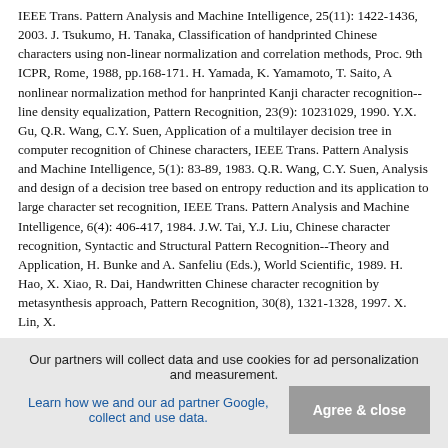IEEE Trans. Pattern Analysis and Machine Intelligence, 25(11): 1422-1436, 2003. J. Tsukumo, H. Tanaka, Classification of handprinted Chinese characters using non-linear normalization and correlation methods, Proc. 9th ICPR, Rome, 1988, pp.168-171. H. Yamada, K. Yamamoto, T. Saito, A nonlinear normalization method for hanprinted Kanji character recognition--line density equalization, Pattern Recognition, 23(9): 10231029, 1990. Y.X. Gu, Q.R. Wang, C.Y. Suen, Application of a multilayer decision tree in computer recognition of Chinese characters, IEEE Trans. Pattern Analysis and Machine Intelligence, 5(1): 83-89, 1983. Q.R. Wang, C.Y. Suen, Analysis and design of a decision tree based on entropy reduction and its application to large character set recognition, IEEE Trans. Pattern Analysis and Machine Intelligence, 6(4): 406-417, 1984. J.W. Tai, Y.J. Liu, Chinese character recognition, Syntactic and Structural Pattern Recognition--Theory and Application, H. Bunke and A. Sanfeliu (Eds.), World Scientific, 1989. H. Hao, X. Xiao, R. Dai, Handwritten Chinese character recognition by metasynthesis approach, Pattern Recognition, 30(8), 1321-1328, 1997. X. Lin, X.
Our partners will collect data and use cookies for ad personalization and measurement. Learn how we and our ad partner Google, collect and use data.
Agree & close